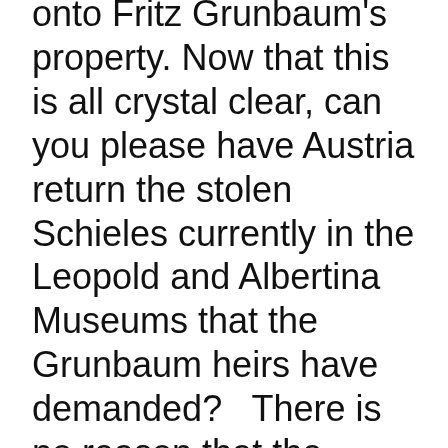onto Fritz Grunbaum's property. Now that this is all crystal clear, can you please have Austria return the stolen Schieles currently in the Leopold and Albertina Museums that the Grunbaum heirs have demanded?   There is no reason that the Austrian police can't do this at your request.
You will see that the recent